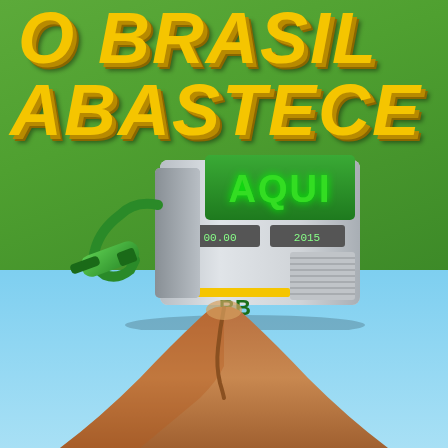O BRASIL ABASTECE AQUI
[Figure (illustration): 3D illustrated gas pump with 'AQUI' text in green on the display panel, showing fuel nozzle on the left, digital displays showing '00.00' and '2015', and 'BB' branding at the bottom. Green and silver color scheme.]
[Figure (illustration): 3D illustrated brown clay/earth mountain or mound shape at the bottom of the image, against a light blue sky background, suggesting sugarcane or earth resources — part of the 'O Brasil Abastece Aqui' (Brazil Fuels Here) campaign.]